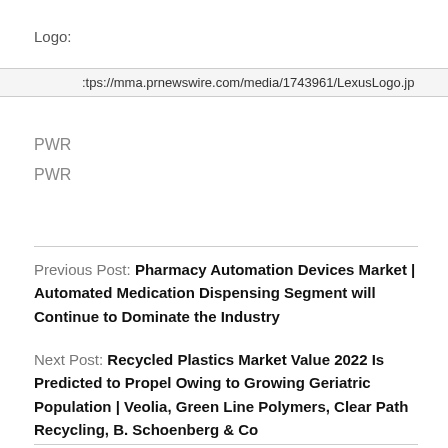Logo:
https://mma.prnewswire.com/media/1743961/LexusLogo.jp
PWR
PWR
Previous Post: Pharmacy Automation Devices Market | Automated Medication Dispensing Segment will Continue to Dominate the Industry
Next Post: Recycled Plastics Market Value 2022 Is Predicted to Propel Owing to Growing Geriatric Population | Veolia, Green Line Polymers, Clear Path Recycling, B. Schoenberg & Co